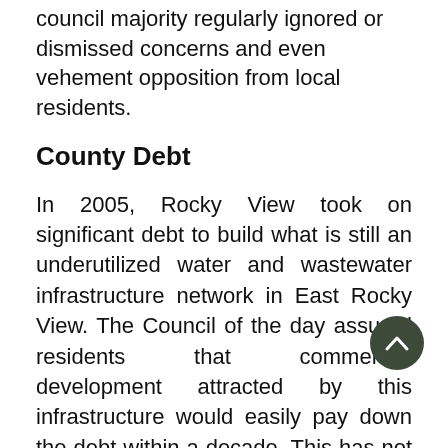council majority regularly ignored or dismissed concerns and even vehement opposition from local residents.
County Debt
In 2005, Rocky View took on significant debt to build what is still an underutilized water and wastewater infrastructure network in East Rocky View. The Council of the day assured residents that commercial development attracted by this infrastructure would easily pay down the debt within a decade. This has not happened — we still owe over $47 million in external long-term debt, plus an additional $45 – $50 million that has been taken out of the Tax Stabilization Reserve and/or paid